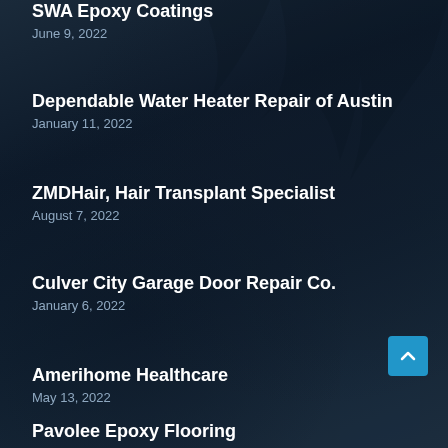SWA Epoxy Coatings
June 9, 2022
Dependable Water Heater Repair of Austin
January 11, 2022
ZMDHair, Hair Transplant Specialist
August 7, 2022
Culver City Garage Door Repair Co.
January 6, 2022
Amerihome Healthcare
May 13, 2022
Pavolee Epoxy Flooring